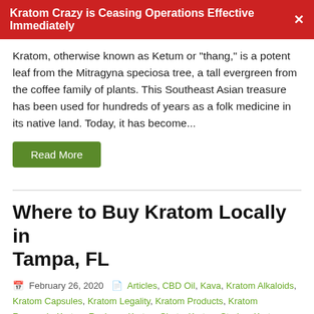Kratom Crazy is Ceasing Operations Effective Immediately ✕
Kratom, otherwise known as Ketum or "thang," is a potent leaf from the Mitragyna speciosa tree, a tall evergreen from the coffee family of plants. This Southeast Asian treasure has been used for hundreds of years as a folk medicine in its native land. Today, it has become...
Read More
Where to Buy Kratom Locally in Tampa, FL
📅 February 26, 2020  🗂 Articles, CBD Oil, Kava, Kratom Alkaloids, Kratom Capsules, Kratom Legality, Kratom Products, Kratom Research, Kratom Reviews, Kratom Shots, Kratom Strains, Kratom Tea, Kratom Vendors
A prominent business center, Tampa, FL is one of the safest places on the Gulf Coast. But if you're in the market for premium grade kratom it's still imperative that you take